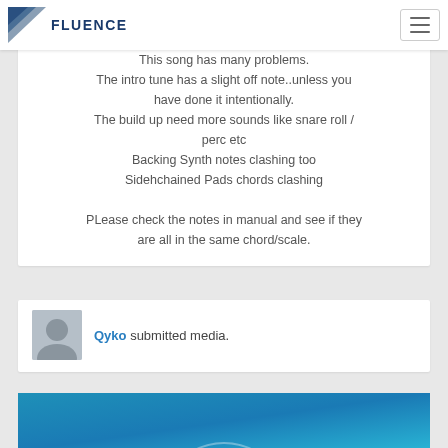[Figure (logo): Fluence logo with triangle and text FLUENCE]
This song has many problems.
The intro tune has a slight off note..unless you have done it intentionally.
The build up need more sounds like snare roll / perc etc
Backing Synth notes clashing too
Sidehchained Pads chords clashing

PLease check the notes in manual and see if they are all in the same chord/scale.
Qyko submitted media.
[Figure (screenshot): Blue media player preview with arc/play button indicator]